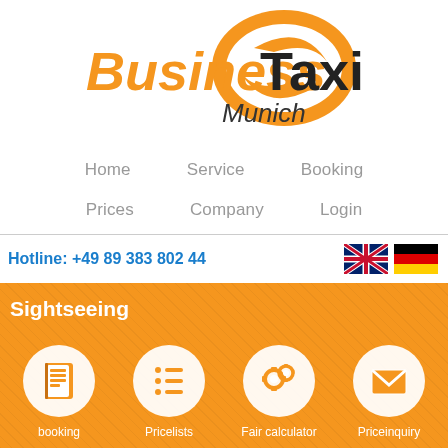[Figure (logo): BusinessTaxi Munich logo with orange italic bold 'Business' text, black 'Taxi' text, and orange circular arrow graphic, with 'Munich' in italic below]
Home   Service   Booking
Prices   Company   Login
Hotline: +49 89 383 802 44
[Figure (illustration): UK flag and German flag icons]
Sightseeing
[Figure (infographic): Four circular white icons on orange background: booking (book icon), Pricelists (list icon), Fair calculator (gear/cog icon), Priceinquiry (envelope icon)]